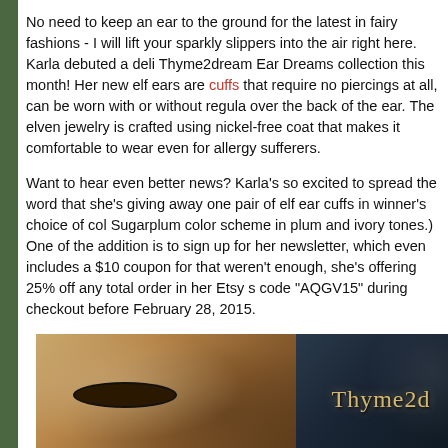No need to keep an ear to the ground for the latest in fairy fashions - I will lift your sparkly slippers into the air right here. Karla debuted a deli Thyme2dream Ear Dreams collection this month! Her new elf ears are cuffs that require no piercings at all, can be worn with or without regula over the back of the ear. The elven jewelry is crafted using nickel-free coat that makes it comfortable to wear even for allergy sufferers.
Want to hear even better news? Karla's so excited to spread the word that she's giving away one pair of elf ear cuffs in winner's choice of col Sugarplum color scheme in plum and ivory tones.) One of the addition is to sign up for her newsletter, which even includes a $10 coupon for that weren't enough, she's offering 25% off any total order in her Etsy s code "AQGV15" during checkout before February 28, 2015.
[Figure (photo): Banner image showing a close-up of a woman's eyes with elegant makeup and the Thyme2dream logo text on a dark starry background]
[Figure (photo): Four thumbnail photos of elf ear cuffs jewelry pieces]